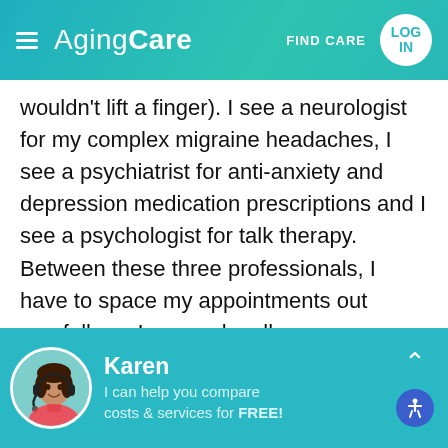AgingCare — FIND CARE — LOG IN
wouldn't lift a finger). I see a neurologist for my complex migraine headaches, I see a psychiatrist for anti-anxiety and depression medication prescriptions and I see a psychologist for talk therapy. Between these three professionals, I have to space my appointments out carefully so I can make all my co-payments. So far it seems to be helping pretty well. Hard days are still hard and good days are still good but I am not in constant darkness like I was before, I am not feeling like the world is going to swallow me whole in one big gulp
[Figure (screenshot): AgingCare chat assistant widget showing Karen with headset photo, name 'Karen', and text 'I can help you compare costs & services for FREE!' with upward chevron and accessibility button]